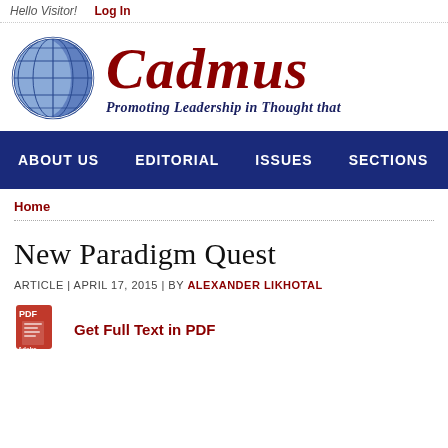Hello Visitor!  Log In
[Figure (logo): Cadmus journal logo with globe icon and text 'Cadmus – Promoting Leadership in Thought that']
ABOUT US  EDITORIAL  ISSUES  SECTIONS
Home
New Paradigm Quest
ARTICLE | APRIL 17, 2015 | BY ALEXANDER LIKHOTAL
Get Full Text in PDF